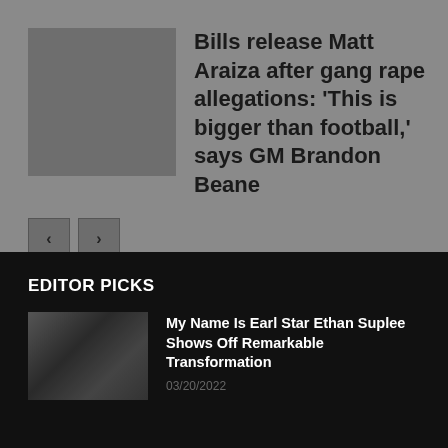[Figure (photo): Thumbnail placeholder image with grey background]
Bills release Matt Araiza after gang rape allegations: ‘This is bigger than football,’ says GM Brandon Beane
EDITOR PICKS
[Figure (photo): Photo of Ethan Suplee with beard wearing dark shirt]
My Name Is Earl Star Ethan Suplee Shows Off Remarkable Transformation
03/20/2022